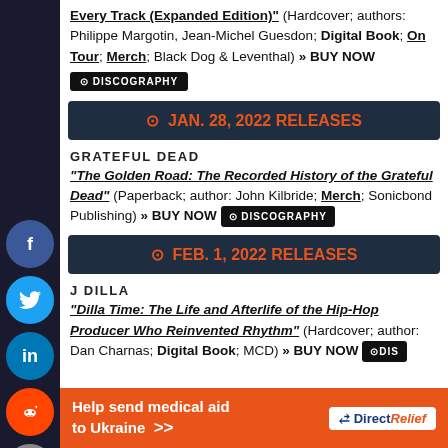Every Track (Expanded Edition)" (Hardcover; authors: Philippe Margotin, Jean-Michel Guesdon; Digital Book; On Tour; Merch; Black Dog & Leventhal) » BUY NOW
[Figure (logo): Discography badge button]
JAN. 28, 2022 RELEASES
GRATEFUL DEAD
"The Golden Road: The Recorded History of the Grateful Dead" (Paperback; author: John Kilbride; Merch; Sonicbond Publishing) » BUY NOW
[Figure (logo): Discography badge button]
FEB. 1, 2022 RELEASES
J DILLA
"Dilla Time: The Life and Afterlife of the Hip-Hop Producer Who Reinvented Rhythm" (Hardcover; author: Dan Charnas; Digital Book; MCD) » BUY NOW
[Figure (logo): Discography badge button (partially visible)]
[Figure (infographic): Help send medical aid to Ukraine - Direct Relief advertisement banner]